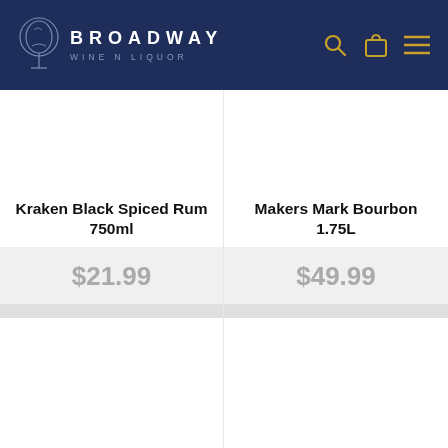[Figure (logo): Broadway Wine N Liquor logo with wine glass icon and navigation icons (search, bag, menu) on dark navy header]
Kraken Black Spiced Rum 750ml
$21.99
Makers Mark Bourbon 1.75L
$49.99